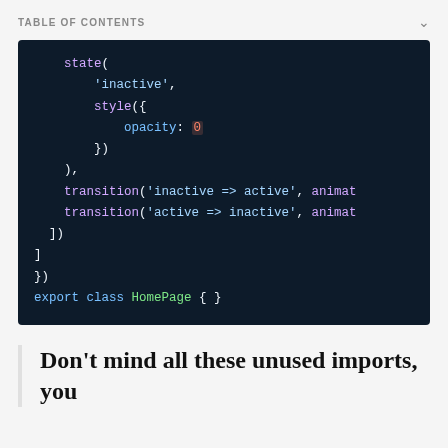TABLE OF CONTENTS
[Figure (screenshot): Dark-themed code editor screenshot showing Angular/TypeScript animation code with state, style, transition function calls]
Don't mind all these unused imports, you